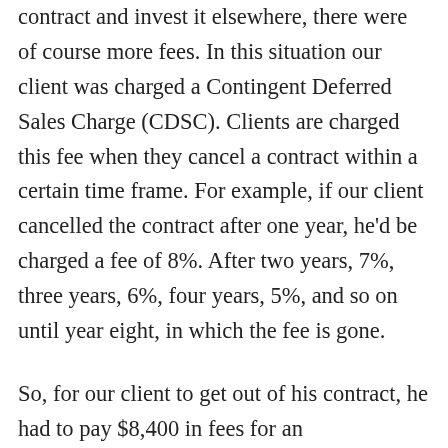contract and invest it elsewhere, there were of course more fees. In this situation our client was charged a Contingent Deferred Sales Charge (CDSC). Clients are charged this fee when they cancel a contract within a certain time frame. For example, if our client cancelled the contract after one year, he'd be charged a fee of 8%. After two years, 7%, three years, 6%, four years, 5%, and so on until year eight, in which the fee is gone.
So, for our client to get out of his contract, he had to pay $8,400 in fees for an underperforming investment (remember this was growth) while also being charged double the fees most advisors charge.